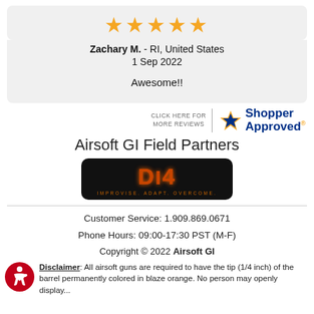[Figure (other): Five orange star rating icons]
Zachary M. - RI, United States
1 Sep 2022
Awesome!!
[Figure (logo): Shopper Approved logo with 'CLICK HERE FOR MORE REVIEWS' text and stylized star]
Airsoft GI Field Partners
[Figure (logo): D14 logo with fiery text on black rounded rectangle background, tagline: IMPROVISE. ADAPT. OVERCOME.]
Customer Service: 1.909.869.0671
Phone Hours: 09:00-17:30 PST (M-F)
Copyright © 2022 Airsoft GI
Disclaimer: All airsoft guns are required to have the tip (1/4 inch) of the barrel permanently colored in blaze orange. No person may openly display...